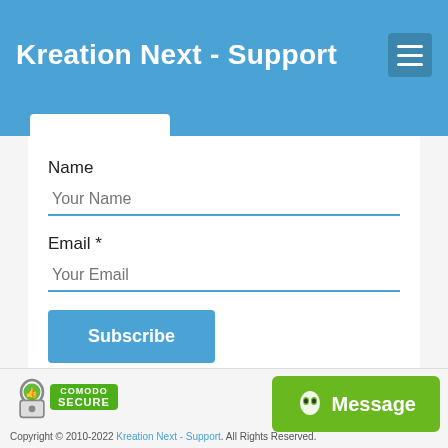Kreation Next - Support
Name
Your Name
Email *
Your Email
Subscribe
Copyright © 2010-2022 Kreation Next - Support. All Rights Reserved.
Message